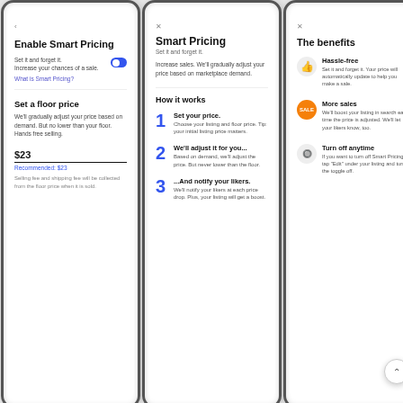[Figure (screenshot): Three mobile phone screenshots showing Smart Pricing feature screens from a marketplace app. Screen 1: Enable Smart Pricing with toggle on, floor price section showing $23 price. Screen 2: Smart Pricing explanation with 'How it works' section and 3 numbered steps. Screen 3: The benefits section with Hassle-free, More sales, and Turn off anytime benefits.]